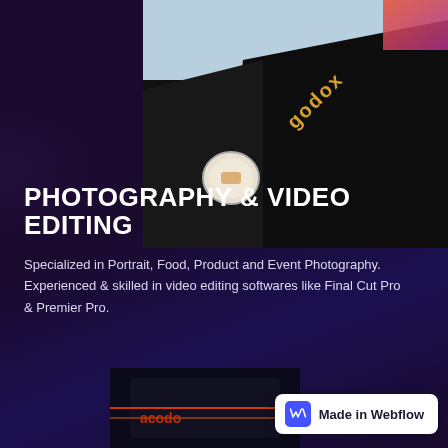[Figure (photo): Photograph of Godox photography equipment (flash/strobe) viewed from above at an angle, with a lens cap visible, dark equipment body with gold Godox text, against blue/gray background]
PHOTOGRAPHY & VIDEO EDITING
Specialized in Portrait, Food, Product and Event Photography. Experienced & skilled in video editing softwares like Final Cut Pro & Premier Pro.
[Figure (photo): Partial bottom image of photography/video editing equipment, appears to be a monitor or device with red/orange lighting]
Made in Webflow